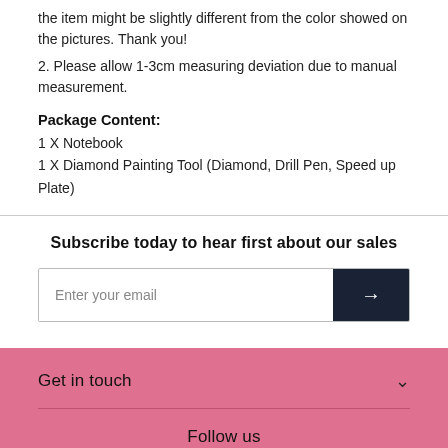the item might be slightly different from the color showed on the pictures. Thank you!
2. Please allow 1-3cm measuring deviation due to manual measurement.
Package Content:
1 X Notebook
1 X Diamond Painting Tool (Diamond, Drill Pen, Speed up Plate)
Subscribe today to hear first about our sales
Enter your email
Get in touch
Follow us